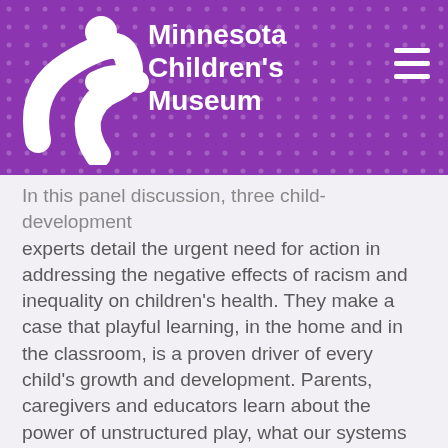Minnesota Children's Museum
In this panel discussion, three child-development experts detail the urgent need for action in addressing the negative effects of racism and inequality on children's health. They make a case that playful learning, in the home and in the classroom, is a proven driver of every child's growth and development. Parents, caregivers and educators learn about the power of unstructured play, what our systems need to improve to ensure equitable access to play and how adults can bring more play into children's lives in order to help them grow into young adults who will help tackle the inequalities that harm children.